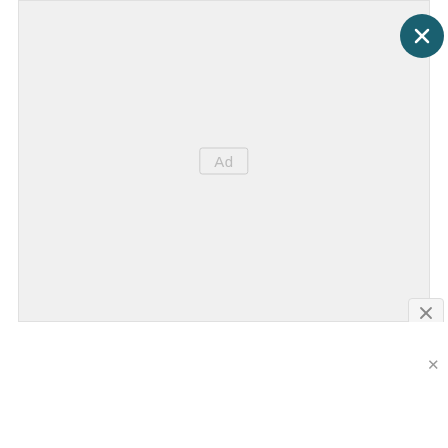[Figure (screenshot): Large advertisement placeholder box with light gray background and 'Ad' label centered inside. A teal/dark-cyan circular close button with an X is in the top-right corner. A small rectangular close button with X is at the bottom-right corner of the ad box.]
[Figure (screenshot): Sponsored advertisement strip at bottom showing a hand holding a small medical/cosmetic tube on the left, with text 'Is Eczema Contagious? Home Remedies Many People May Not...' in bold, attributed to 'Eczema Creams | Sponsored', and a small X close button on the right.]